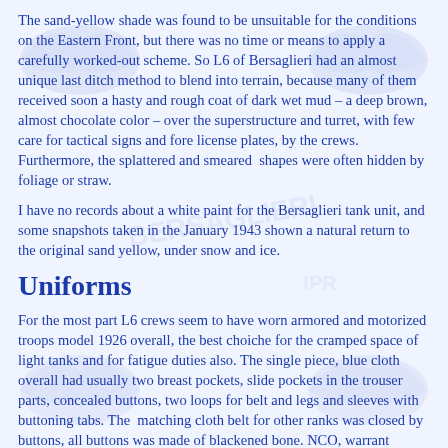The sand-yellow shade was found to be unsuitable for the conditions on the Eastern Front, but there was no time or means to apply a carefully worked-out scheme. So L6 of Bersaglieri had an almost unique last ditch method to blend into terrain, because many of them received soon a hasty and rough coat of dark wet mud – a deep brown, almost chocolate color – over the superstructure and turret, with few care for tactical signs and fore license plates, by the crews. Furthermore, the splattered and smeared  shapes were often hidden by foliage or straw.
I have no records about a white paint for the Bersaglieri tank unit, and some snapshots taken in the January 1943 shown a natural return to the original sand yellow, under snow and ice.
Uniforms
For the most part L6 crews seem to have worn armored and motorized troops model 1926 overall, the best choiche for the cramped space of  light tanks and for fatigue duties also. The single piece, blue cloth overall had usually two breast pockets, slide pockets in the trouser parts, concealed buttons, two loops for belt and legs and sleeves with buttoning tabs. The  matching cloth belt for other ranks was closed by buttons, all buttons was made of blackened bone. NCO, warrant officers and officers wore the